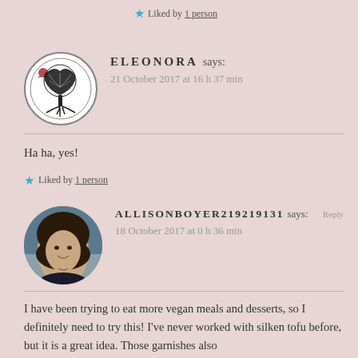★ Liked by 1 person
ELEONORA says:
21 October 2017 at 16 h 37 min

Ha ha, yes!

★ Liked by 1 person
[Figure (illustration): Circular avatar with tree of life design, black and white illustration]
ALLISONBOYER219219131 says:
18 October 2017 at 0 h 36 min

I have been trying to eat more vegan meals and desserts, so I definitely need to try this! I've never worked with silken tofu before, but it is a great idea. Those garnishes also